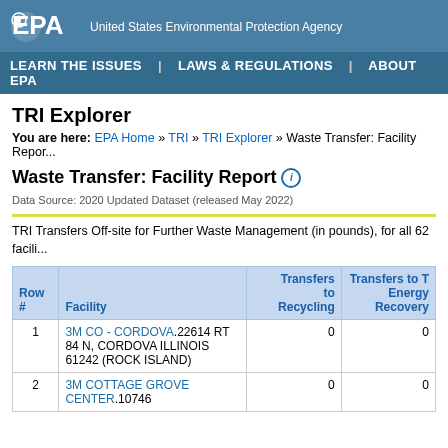EPA United States Environmental Protection Agency
LEARN THE ISSUES | LAWS & REGULATIONS | ABOUT EPA
TRI Explorer
You are here: EPA Home » TRI » TRI Explorer » Waste Transfer: Facility Report
Waste Transfer: Facility Report
Data Source: 2020 Updated Dataset (released May 2022)
TRI Transfers Off-site for Further Waste Management (in pounds), for all 62 facili...
| Row # | Facility | Transfers to Recycling | Transfers to T Energy Recovery |
| --- | --- | --- | --- |
| 1 | 3M CO - CORDOVA.22614 RT 84 N, CORDOVA ILLINOIS 61242 (ROCK ISLAND) | 0 | 0 |
| 2 | 3M COTTAGE GROVE CENTER.10746 | 0 | 0 |